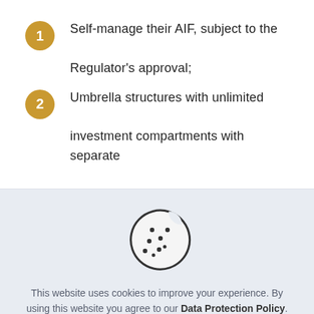Self-manage their AIF, subject to the Regulator's approval;
Umbrella structures with unlimited investment compartments with separate
[Figure (illustration): Cookie icon — a round cookie with a bite taken out of the upper right, with several small dots representing chocolate chips, drawn in outline style.]
This website uses cookies to improve your experience. By using this website you agree to our Data Protection Policy.
Read more
Accept all